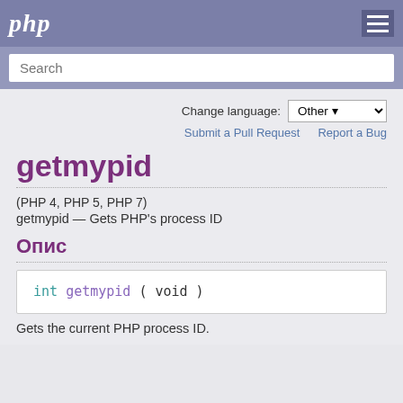php
Search
Change language: Other
Submit a Pull Request   Report a Bug
getmypid
(PHP 4, PHP 5, PHP 7)
getmypid — Gets PHP's process ID
Опис
Gets the current PHP process ID.